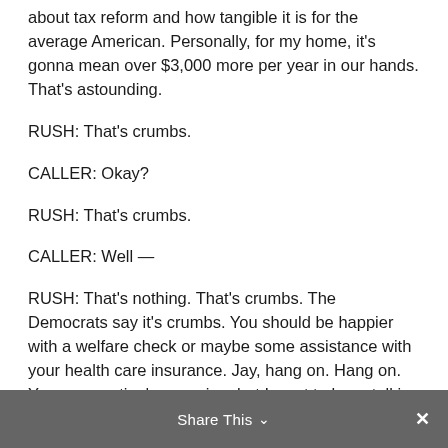about tax reform and how tangible it is for the average American. Personally, for my home, it's gonna mean over $3,000 more per year in our hands. That's astounding.
RUSH: That's crumbs.
CALLER: Okay?
RUSH: That's crumbs.
CALLER: Well —
RUSH: That's nothing. That's crumbs. The Democrats say it's crumbs. You should be happier with a welfare check or maybe some assistance with your health care insurance. Jay, hang on. Hang on. Your connection's wavering, but I want to keep talking to you, so don't hang up out there. I have to take a break. Don't go away.
BREAK TRANSCRIPT
RUSH: Jay in Fairfax, I'm glad you waited.  You were starting to talk about taxes and how $3,000 to your